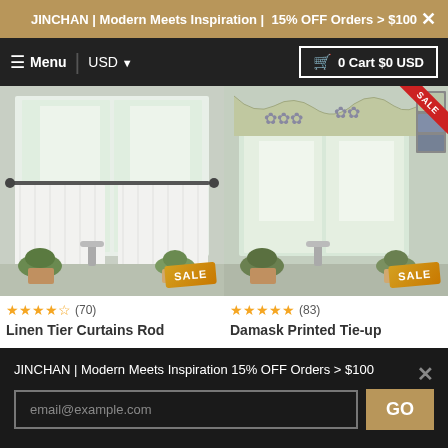JINCHAN | Modern Meets Inspiration | 15% OFF Orders > $100
≡ Menu  USD ▾   🛒 0 Cart $0 USD
[Figure (photo): White linen tier curtains hung on a rod over a kitchen window with plants and faucet below. SALE badge in corner.]
[Figure (photo): Damask printed tie-up valance curtains over a kitchen window with plants and faucet below. SALE badge and color swatches visible. Red SALE ribbon top right.]
★★★★½ (70)
★★★★★ (83)
Linen Tier Curtains Rod
Damask Printed Tie-up
JINCHAN | Modern Meets Inspiration 15% OFF Orders > $100
email@example.com
GO
×